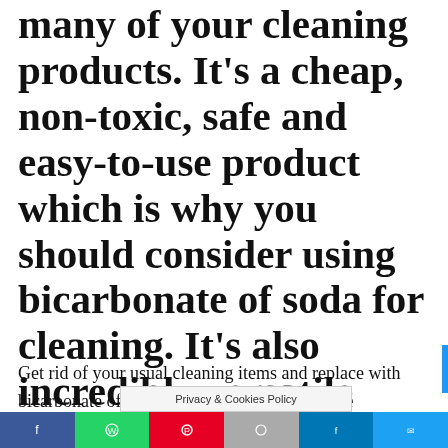many of your cleaning products. It's a cheap, non-toxic, safe and easy-to-use product which is why you should consider using bicarbonate of soda for cleaning. It's also incredibly versatile which makes it my favourite green and eco-friendly cleaning product.
Get rid of your usual cleaning items and replace with bicarbonate of soda to r... the